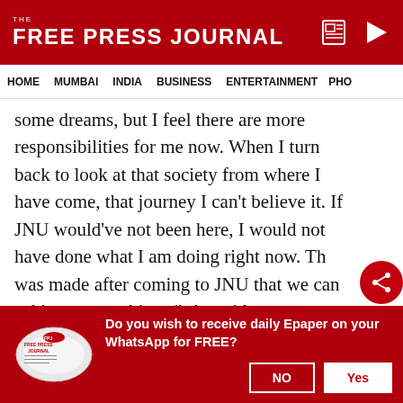FREE PRESS JOURNAL
HOME | MUMBAI | INDIA | BUSINESS | ENTERTAINMENT | PHO
some dreams, but I feel there are more responsibilities for me now. When I turn back to look at that society from where I have come, that journey I can't believe it. If JNU would've not been here, I would not have done what I am doing right now. Th... was made after coming to JNU that we can achieve many things," she said.

She appealed to the government to make more such public-funded universities so that more
Do you wish to receive daily Epaper on your WhatsApp for FREE?